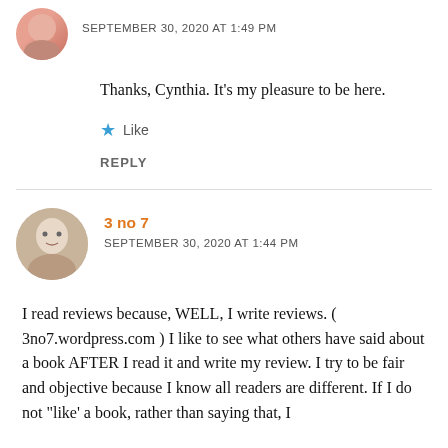SEPTEMBER 30, 2020 AT 1:49 PM
Thanks, Cynthia. It’s my pleasure to be here.
Like
REPLY
3 no 7
SEPTEMBER 30, 2020 AT 1:44 PM
I read reviews because, WELL, I write reviews. ( 3no7.wordpress.com ) I like to see what others have said about a book AFTER I read it and write my review. I try to be fair and objective because I know all readers are different. If I do not “like’ a book, rather than saying that, I